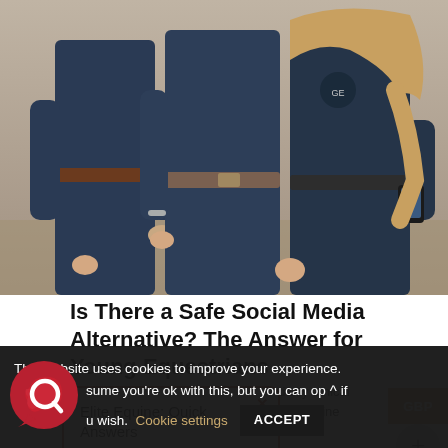[Figure (photo): Three people in dark navy blue uniforms with belts, photographed from torso down, standing outdoors on a sandy/earthy surface. The rightmost person has long blonde hair and is holding a device.]
Is There a Safe Social Media Alternative? The Answer for Young Equestrians
Continuing our quest to build a beautifully ethical and socially responsible business, Elite Equine endeavours to maintain transparency as much as possible.
Elite Equine: Quick Answers
This website uses cookies to improve your experience. We'll assume you're ok with this, but you can opt-out if you wish.
Cookie settings   ACCEPT